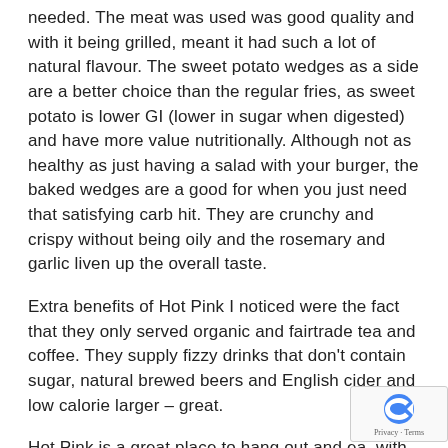needed.  The meat was used was good quality and with it being grilled, meant it had such a lot of natural flavour.  The sweet potato wedges as a side are a better choice than the regular fries, as sweet potato is lower GI (lower in sugar when digested) and have more value nutritionally.  Although not as healthy as just having a salad with your burger, the baked wedges are a good for when you just need that satisfying carb hit.  They are crunchy and crispy without being oily and the rosemary and garlic liven up the overall taste.
Extra benefits of Hot Pink I noticed were the fact that they only served organic and fairtrade tea and coffee.  They supply fizzy drinks that don't contain sugar, natural brewed beers and English cider and low calorie larger – great.
Hot Pink is a great place to hang out and eat with friends, family (especially good for parents with teenagers/young kids wanting their burger
[Figure (logo): Google reCAPTCHA badge with circular arrow icon and 'Privacy - Terms' text]